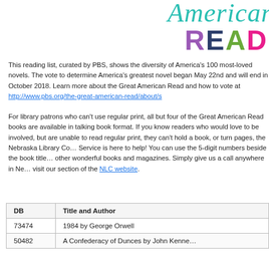[Figure (logo): Great American Read logo with cursive 'American' text in teal and 'READ' in large colored letters (purple R, dark blue E, green A, pink D)]
This reading list, curated by PBS, shows the diversity of America's 100 most-loved novels. The vote to determine America's greatest novel began May 22nd and will end in October 2018. Learn more about the Great American Read and how to vote at http://www.pbs.org/the-great-american-read/about/s
For library patrons who can't use regular print, all but four of the Great American Read books are available in talking book format. If you know readers who would love to be involved, but are unable to read regular print, they can't hold a book, or turn pages, the Nebraska Library Commission Talking Book & Braille Service is here to help! You can use the 5-digit numbers beside the book titles to request these and other wonderful books and magazines. Simply give us a call anywhere in Nebraska at… or visit our section of the NLC website.
| DB | Title and Author |
| --- | --- |
| 73474 | 1984 by George Orwell |
| 50482 | A Confederacy of Dunces by John Kenne… |